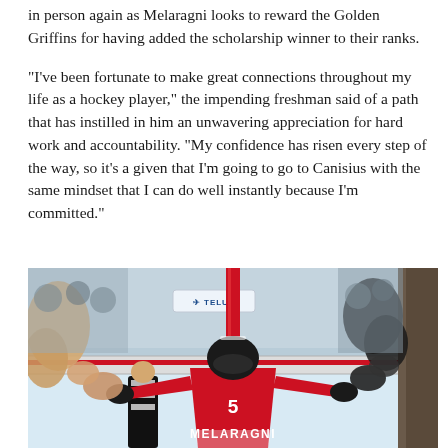in person again as Melaragni looks to reward the Golden Griffins for having added the scholarship winner to their ranks.
“I’ve been fortunate to make great connections throughout my life as a hockey player,” the impending freshman said of a path that has instilled in him an unwavering appreciation for hard work and accountability. “My confidence has risen every step of the way, so it’s a given that I’m going to go to Canisius with the same mindset that I can do well instantly because I’m committed.”
[Figure (photo): Hockey player wearing a red jersey with MELARAGNI and number 5 on the back, walking through a tunnel with fans reaching out to high-five on both sides. A red pole is visible in the center background, and a TELUS advertisement sign is visible in the background of the ice rink.]